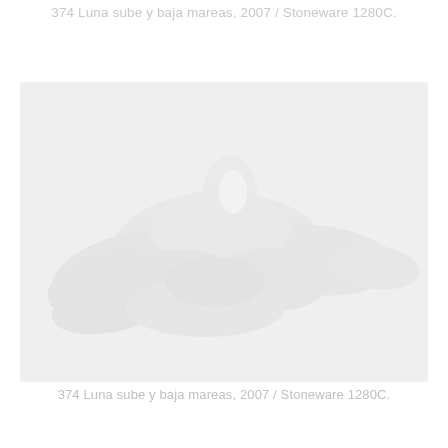374 Luna sube y baja mareas, 2007 / Stoneware 1280C.
[Figure (photo): A white ceramic sculpture of a bird or dove form, photographed against a light grey background. The piece is a stoneware work titled 'Luna sube y baja mareas' from 2007, fired at 1280C. The sculpture appears pale white with subtle organic forms suggesting wings and a body.]
374 Luna sube y baja mareas, 2007 / Stoneware 1280C.